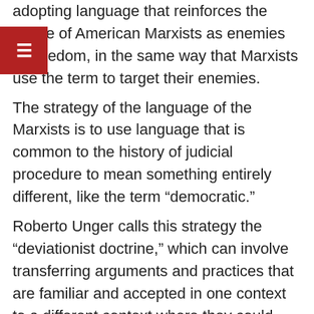adopting language that reinforces the image of American Marxists as enemies of freedom, in the same way that Marxists use the term to target their enemies.
The strategy of the language of the Marxists is to use language that is common to the history of judicial procedure to mean something entirely different, like the term “democratic.”
Roberto Unger calls this strategy the “deviationist doctrine,” which can involve transferring arguments and practices that are familiar and accepted in one context to a different context where they could produce dramatic change.
Unger uses the term “workplace democracy” as an example; the wide appeal of democratic norms and practices in politics are transferred to the